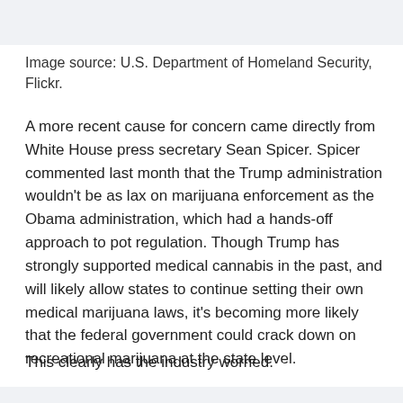Image source: U.S. Department of Homeland Security, Flickr.
A more recent cause for concern came directly from White House press secretary Sean Spicer. Spicer commented last month that the Trump administration wouldn't be as lax on marijuana enforcement as the Obama administration, which had a hands-off approach to pot regulation. Though Trump has strongly supported medical cannabis in the past, and will likely allow states to continue setting their own medical marijuana laws, it's becoming more likely that the federal government could crack down on recreational marijuana at the state level.
This clearly has the industry worried.